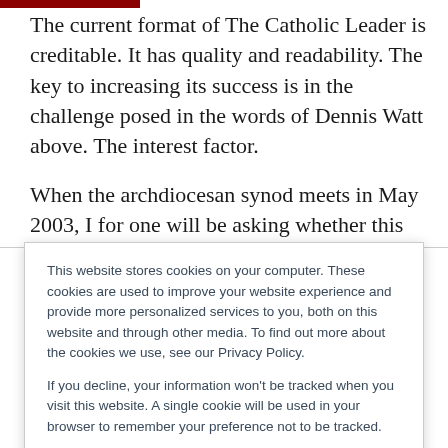The current format of The Catholic Leader is creditable. It has quality and readability. The key to increasing its success is in the challenge posed in the words of Dennis Watt above. The interest factor.
When the archdiocesan synod meets in May 2003, I for one will be asking whether this paper was a
This website stores cookies on your computer. These cookies are used to improve your website experience and provide more personalized services to you, both on this website and through other media. To find out more about the cookies we use, see our Privacy Policy.

If you decline, your information won't be tracked when you visit this website. A single cookie will be used in your browser to remember your preference not to be tracked.